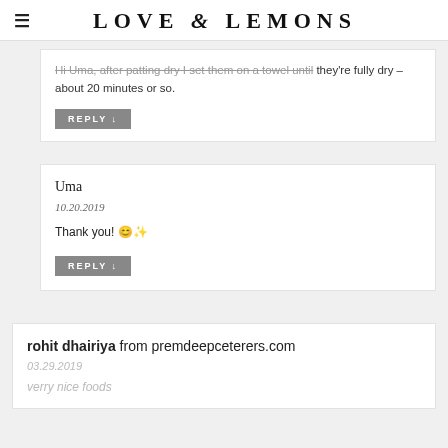LOVE & LEMONS
Hi Uma, after patting dry I set them on a towel until they're fully dry – about 20 minutes or so.
REPLY ↓
Uma
10.20.2019
Thank you! 😊✨
REPLY ↓
rohit dhairiya from premdeepceterers.com
03.29.2019
verry nice foods